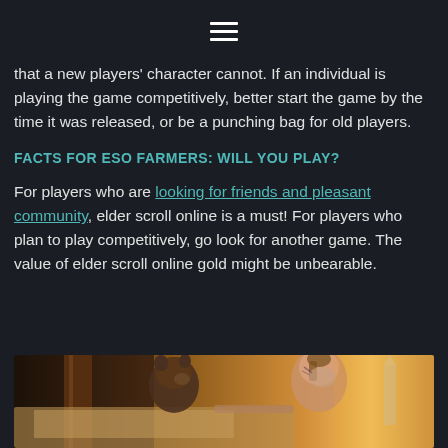☰
that a new players' character cannot. If an individual is playing the game competitively, better start the game by the time it was released, or be a punching bag for old players.
FACTS FOR ESO FARMERS: WILL YOU PLAY?
For players who are looking for friends and pleasant community, elder scroll online is a must! For players who plan to play competitively, go look for another game. The value of elder scroll online gold might be unbearable.
[Figure (photo): Two characters from Elder Scrolls Online, one appearing to be an anthropomorphic bear-like creature and one a heavily tattooed human, looking at a map together in a warm golden-hour lighting environment.]